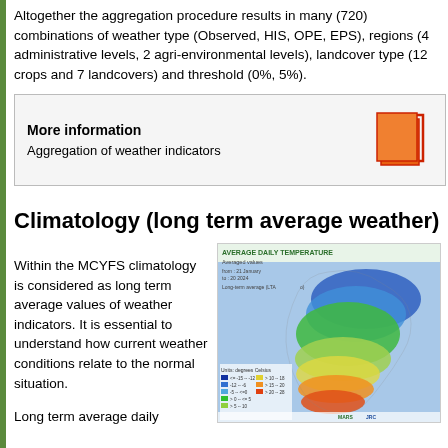Altogether the aggregation procedure results in many (720) combinations of weather type (Observed, HIS, OPE, EPS), regions (4 administrative levels, 2 agri-environmental levels), landcover type (12 crops and 7 landcovers) and threshold (0%, 5%).
More information
Aggregation of weather indicators
Climatology (long term average weather)
Within the MCYFS climatology is considered as long term average values of weather indicators. It is essential to understand how current weather conditions relate to the normal situation.
Long term average daily
[Figure (map): Map of Europe showing average daily temperature with color-coded regions. Legend shows temperature ranges in degrees Celsius: <= -15, -15 to -5, -5 to 0, 0 to 5, 5 to 10, 10 to 15, 15 to 20, > 20. Title: AVERAGE DAILY TEMPERATURE, Averaged values, from 21 January to 20 2024, Long-term average (LTAo). Logos: MARS, JRC.]